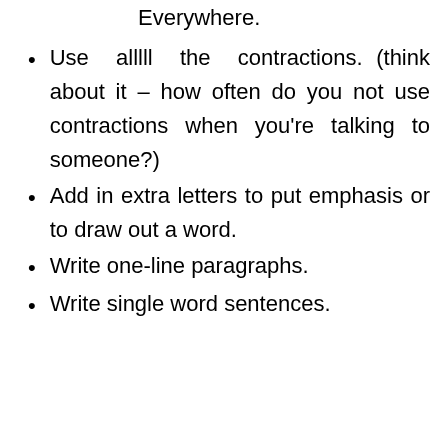Everywhere.
Use alllll the contractions. (think about it – how often do you not use contractions when you're talking to someone?)
Add in extra letters to put emphasis or to draw out a word.
Write one-line paragraphs.
Write single word sentences.